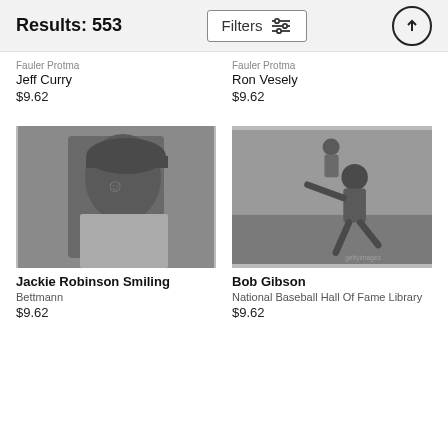Results: 553
Filters
Fauler Protma
Jeff Curry
$9.62
Fauler Protma
Ron Vesely
$9.62
[Figure (photo): Black and white portrait photo of Jackie Robinson smiling, wearing a Dodgers cap]
Jackie Robinson Smiling
Bettmann
$9.62
[Figure (photo): Black and white action photo of Bob Gibson pitching on a baseball field]
Bob Gibson
National Baseball Hall Of Fame Library
$9.62